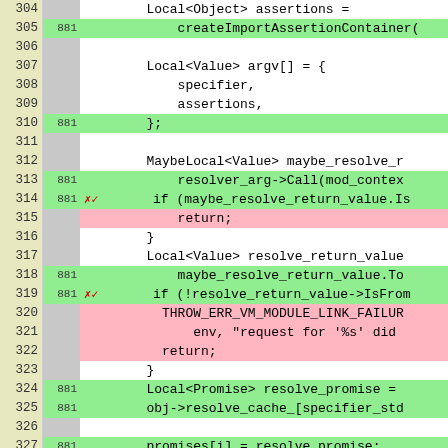[Figure (screenshot): Code coverage diff view showing lines 304-330 of a C++ source file. Lines are colored green (covered/added), pink (uncovered/removed), or white (neutral). Left columns show line numbers and coverage hit counts. Code involves module loading: createImportAssertionContainer, resolver_arg->Call, maybe_resolve_return_value, THROW_ERR_VM_MODULE_LINK_FAILURE, resolve_cache_, promises[i], args.GetReturnValue().Set.]